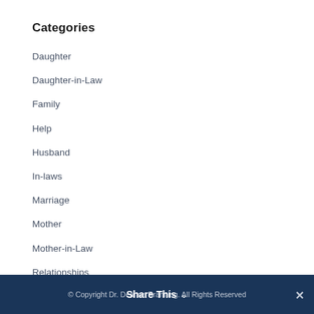Categories
Daughter
Daughter-in-Law
Family
Help
Husband
In-laws
Marriage
Mother
Mother-in-Law
Relationships
© Copyright Dr. Deanna Branning. All Rights Reserved  Share This  ✕